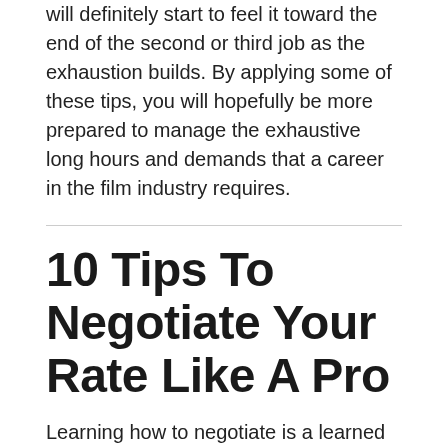will definitely start to feel it toward the end of the second or third job as the exhaustion builds. By applying some of these tips, you will hopefully be more prepared to manage the exhaustive long hours and demands that a career in the film industry requires.
10 Tips To Negotiate Your Rate Like A Pro
Learning how to negotiate is a learned skill for most. It is nerve-wracking and awkward, but necessary in the industry. For every job, you will